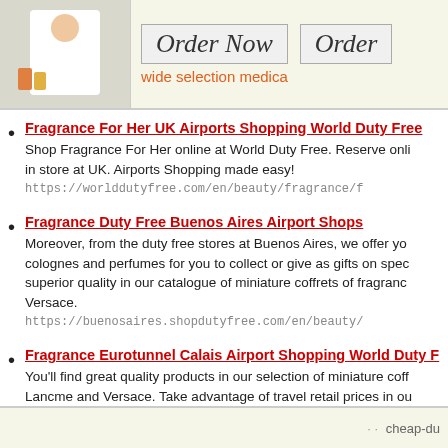[Figure (screenshot): Top banner with pharmacy/doctor image, 'Order Now' buttons in italic script font, and 'wide selection medica' text in orange]
Fragrance For Her UK Airports Shopping World Duty Free
Shop Fragrance For Her online at World Duty Free. Reserve online collect in store at UK. Airports Shopping made easy!
https://worlddutyfree.com/en/beauty/fragrance/f
Fragrance Duty Free Buenos Aires Airport Shops
Moreover, from the duty free stores at Buenos Aires, we offer you colognes and perfumes for you to collect or give as gifts on special superior quality in our catalogue of miniature coffrets of fragrance Versace.
https://buenosaires.shopdutyfree.com/en/beauty/
Fragrance Eurotunnel Calais Airport Shopping World Duty F
You'll find great quality products in our selection of miniature coffrets Lancme and Versace. Take advantage of travel retail prices in our from brands such as Paco Rabanne and Gucci. Choose your favourite order at the World Duty Free Eurotunnel
https://eurotunnelcalais.worlddutyfree.com/en/be
cheap-du